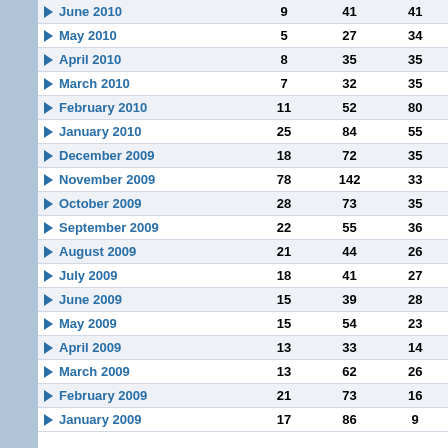| Month |  |  |  |
| --- | --- | --- | --- |
| June 2010 | 9 | 41 | 41 |
| May 2010 | 5 | 27 | 34 |
| April 2010 | 8 | 35 | 35 |
| March 2010 | 7 | 32 | 35 |
| February 2010 | 11 | 52 | 80 |
| January 2010 | 25 | 84 | 55 |
| December 2009 | 18 | 72 | 35 |
| November 2009 | 78 | 142 | 33 |
| October 2009 | 28 | 73 | 35 |
| September 2009 | 22 | 55 | 36 |
| August 2009 | 21 | 44 | 26 |
| July 2009 | 18 | 41 | 27 |
| June 2009 | 15 | 39 | 28 |
| May 2009 | 15 | 54 | 23 |
| April 2009 | 13 | 33 | 14 |
| March 2009 | 13 | 62 | 26 |
| February 2009 | 21 | 73 | 16 |
| January 2009 | 17 | 86 | 9 |